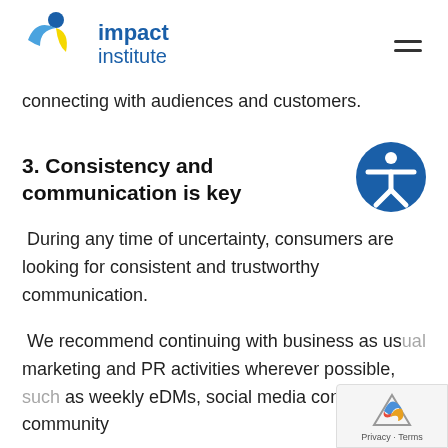impact institute
connecting with audiences and customers.
3. Consistency and communication is key
During any time of uncertainty, consumers are looking for consistent and trustworthy communication.
We recommend continuing with business as usual marketing and PR activities wherever possible, such as weekly eDMs, social media content and community